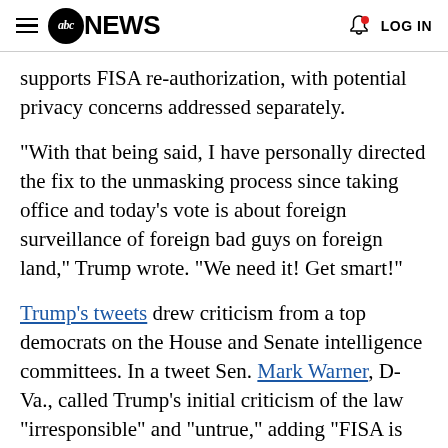abc NEWS  LOG IN
supports FISA re-authorization, with potential privacy concerns addressed separately.
"With that being said, I have personally directed the fix to the unmasking process since taking office and today's vote is about foreign surveillance of foreign bad guys on foreign land," Trump wrote. "We need it! Get smart!"
Trump's tweets drew criticism from a top democrats on the House and Senate intelligence committees. In a tweet Sen. Mark Warner, D-Va., called Trump's initial criticism of the law "irresponsible" and "untrue," adding "FISA is something the President should be...